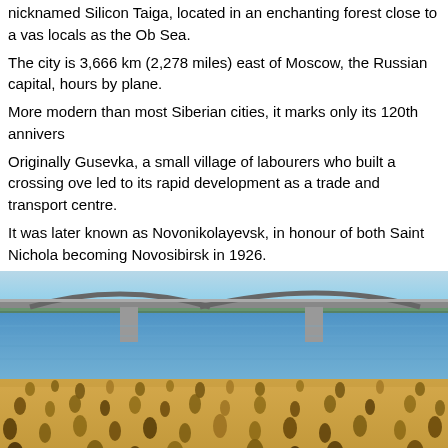nicknamed Silicon Taiga, located in an enchanting forest close to a vast reservoir known by locals as the Ob Sea.
The city is 3,666 km (2,278 miles) east of Moscow, the Russian capital, hours by plane.
More modern than most Siberian cities, it marks only its 120th anniversary.
Originally Gusevka, a small village of labourers who built a crossing over led to its rapid development as a trade and transport centre.
It was later known as Novonikolayevsk, in honour of both Saint Nicholas, becoming Novosibirsk in 1926.
[Figure (photo): Vintage color photograph of a busy sandy beach along a wide river with a large bridge spanning the water in the background, and many people sunbathing and gathering on the beach. Trees and far shore visible in the distance.]